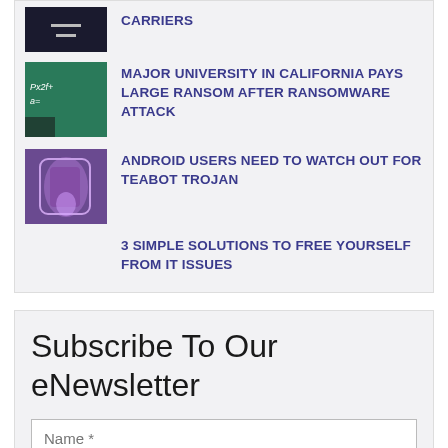[Figure (screenshot): Thumbnail: dark chat bubble icon on dark background]
CARRIERS
[Figure (photo): Thumbnail: person standing in front of math equations on green chalkboard]
MAJOR UNIVERSITY IN CALIFORNIA PAYS LARGE RANSOM AFTER RANSOMWARE ATTACK
[Figure (photo): Thumbnail: purple Android phone]
ANDROID USERS NEED TO WATCH OUT FOR TEABOT TROJAN
3 SIMPLE SOLUTIONS TO FREE YOURSELF FROM IT ISSUES
Subscribe To Our eNewsletter
Name *
Email *